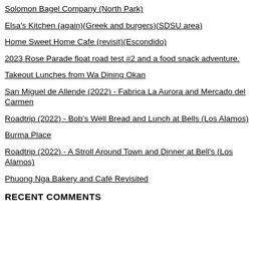and opened in February 2020.  This is anothe
Solomon Bagel Company (North Park)
Elsa's Kitchen (again)(Greek and burgers)(SDSU area)
Home Sweet Home Cafe (revisit)(Escondido)
2023 Rose Parade float road test #2 and a food snack adventure.
Takeout Lunches from Wa Dining Okan
San Miguel de Allende (2022) - Fabrica La Aurora and Mercado del Carmen
Roadtrip (2022) - Bob's Well Bread and Lunch at Bells (Los Alamos)
Burma Place
Roadtrip (2022) - A Stroll Around Town and Dinner at Bell's (Los Alamos)
Phuong Nga Bakery and Café Revisited
RECENT COMMENTS
[Figure (photo): Exterior photo of a restaurant (partially showing 'BLO...' sign) with red tile roof, outdoor seating with wooden tables and red umbrellas, green trees and blue sky. Photo is bordered in bright green. A second darker photo is visible at the bottom.]